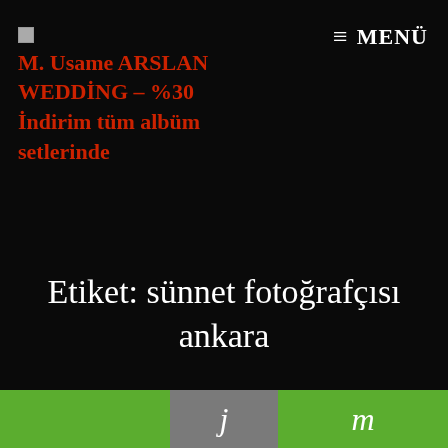M. Usame ARSLAN WEDDİNG – %30 İndirim tüm albüm setlerinde
≡ MENÜ
Etiket: sünnet fotoğrafçısı ankara
[Figure (photo): Thumbnail image placeholder for sünnet fotoğrafçısı ankara post]
sünnet fotoğrafçısı ankara
j m